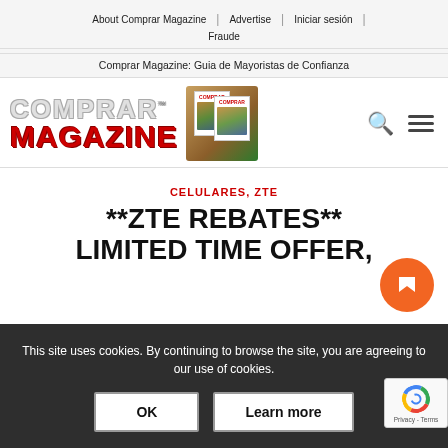About Comprar Magazine | Advertise | Iniciar sesión | Fraude
Comprar Magazine: Guia de Mayoristas de Confianza
[Figure (logo): Comprar Magazine logo with text COMPRAR MAGAZINE in styled font and small magazine cover images]
CELULARES, ZTE
**ZTE REBATES** LIMITED TIME OFFER,
This site uses cookies. By continuing to browse the site, you are agreeing to our use of cookies.
OK   Learn more
[Figure (other): Orange circle notification button with white flag/bookmark icon]
[Figure (other): Google reCAPTCHA badge showing Privacy - Terms]